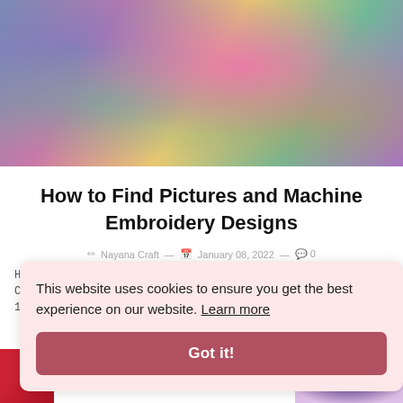[Figure (photo): Close-up photo of colorful embroidered fabric with floral and paisley patterns in pink, green, yellow, and blue on a light background.]
How to Find Pictures and Machine Embroidery Designs
✏ Nayana Craft — 📅 January 08, 2022 — 💬 0
How to Find Pictures and Machine Embroidery Designs Collection 196... design collection 196... During the past
This website uses cookies to ensure you get the best experience on our website. Learn more
Got it!
[Figure (photo): Partial view of colorful embroidered fabric with purple, blue, and pink floral patterns.]